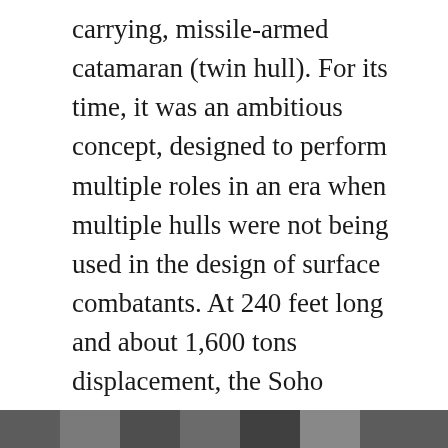carrying, missile-armed catamaran (twin hull). For its time, it was an ambitious concept, designed to perform multiple roles in an era when multiple hulls were not being used in the design of surface combatants. At 240 feet long and about 1,600 tons displacement, the Soho corresponded to what we might think of nowadays as a corvette, though it has usually been called a frigate by analysts. With a broad beam of over 50 feet, the ship also bears a resemblance to modern littoral combat ships, though her role did not seem to include landing assault forces. For a modern naval comparison, it is about the size of the 2005-activated Sea Fighter:
[Figure (photo): Partial image strip visible at the bottom of the page, showing what appears to be a naval vessel photograph, partially cut off.]